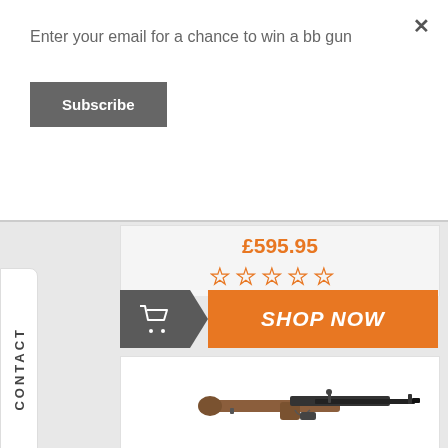Enter your email for a chance to win a bb gun
Subscribe
£595.95
[Figure (infographic): Five outlined star ratings in orange, all empty/unfilled]
[Figure (infographic): Shop Now button with grey shopping cart icon on left dark section with orange triangle divider, and orange background with italic white SHOP NOW text]
[Figure (photo): Bolt-action rifle with wooden stock and dark metal barrel, shown in profile view on white background]
CONTACT